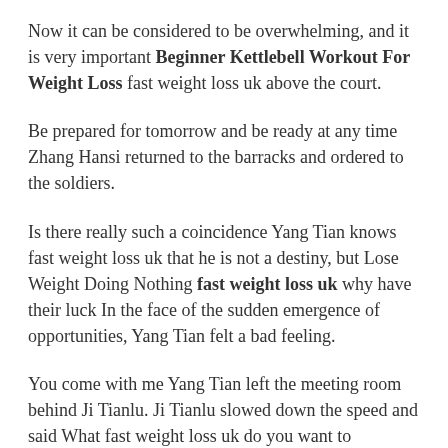Now it can be considered to be overwhelming, and it is very important Beginner Kettlebell Workout For Weight Loss fast weight loss uk above the court.
Be prepared for tomorrow and be ready at any time Zhang Hansi returned to the barracks and ordered to the soldiers.
Is there really such a coincidence Yang Tian knows fast weight loss uk that he is not a destiny, but Lose Weight Doing Nothing fast weight loss uk why have their luck In the face of the sudden emergence of opportunities, Yang Tian felt a bad feeling.
You come with me Yang Tian left the meeting room behind Ji Tianlu. Ji Tianlu slowed down the speed and said What fast weight loss uk do you want to...